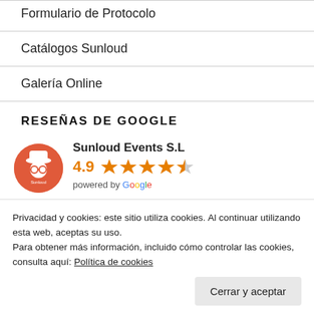Formulario de Protocolo
Catálogos Sunloud
Galería Online
RESEÑAS DE GOOGLE
[Figure (logo): Sunloud Events S.L Google reviews widget showing 4.9 star rating with 4 full stars and 1 half star, powered by Google logo]
phi long Nguyen
Privacidad y cookies: este sitio utiliza cookies. Al continuar utilizando esta web, aceptas su uso.
Para obtener más información, incluido cómo controlar las cookies, consulta aquí: Política de cookies
Cerrar y aceptar
The DJ played the type of music we requested and the